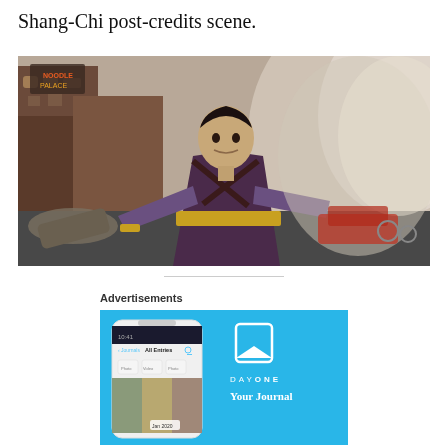Shang-Chi post-credits scene.
[Figure (photo): Actor in a Marvel superhero costume (purple and gold outfit) with arms outstretched in an action pose on a destroyed city street. Urban background with buildings and debris.]
Advertisements
[Figure (illustration): Day One app advertisement on a cyan/blue background. Shows a phone mockup with the Day One journal app interface on the left, and on the right a bookmark icon logo, the text 'DAY ONE' in spaced letters, and 'Your Journal' in bold serif text.]